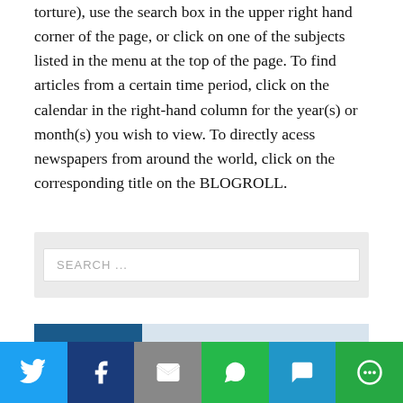torture), use the search box in the upper right hand corner of the page, or click on one of the subjects listed in the menu at the top of the page. To find articles from a certain time period, click on the calendar in the right-hand column for the year(s) or month(s) you wish to view. To directly acess newspapers from around the world, click on the corresponding title on the BLOGROLL.
[Figure (screenshot): Search input box with placeholder text 'SEARCH ...' inside a light gray container]
PAGES
[Figure (infographic): Social sharing bar with Twitter, Facebook, Email, WhatsApp, SMS, and More buttons]